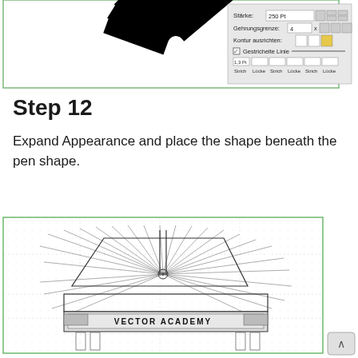[Figure (screenshot): Screenshot of a vector graphics software showing a radial burst/star shape in black on the left, and a panel on the right with stroke settings in German: Stärke 250 Pt, Gehrungsgrenze 4 x, Kontur ausrichten options, Gestrichelte Linie checkbox, and dash/gap fields (Strich, Lücke, Strich, Lücke, Strich, Lücke)]
Step 12
Expand Appearance and place the shape beneath the pen shape.
[Figure (screenshot): Screenshot of a vector design canvas showing a pen/fountain pen technical drawing with radial lines emanating from center, text 'VECTOR ACADEMY' on a banner at the bottom, all on a dotted grid background with a green border. A scroll-up arrow button is visible at bottom right.]